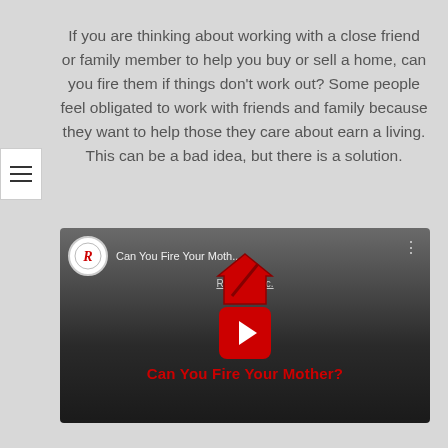If you are thinking about working with a close friend or family member to help you buy or sell a home, can you fire them if things don't work out? Some people feel obligated to work with friends and family because they want to help those they care about earn a living. This can be a bad idea, but there is a solution.
[Figure (screenshot): YouTube video thumbnail showing 'Can You Fire Your Moth...' by Riley J... Group, Inc. with a red play button and title 'Can You Fire Your Mother?' in bold red text at the bottom.]